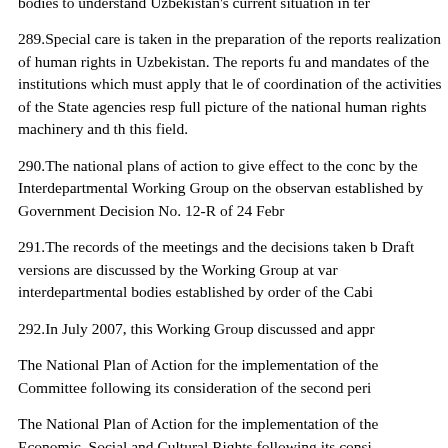bodies to understand Uzbekistan's current situation in ter
289.Special care is taken in the preparation of the reports realization of human rights in Uzbekistan. The reports fu and mandates of the institutions which must apply that le of coordination of the activities of the State agencies resp full picture of the national human rights machinery and th this field.
290.The national plans of action to give effect to the con by the Interdepartmental Working Group on the observan established by Government Decision No. 12-R of 24 Febr
291.The records of the meetings and the decisions taken b Draft versions are discussed by the Working Group at var interdepartmental bodies established by order of the Cabi
292.In July 2007, this Working Group discussed and appr
The National Plan of Action for the implementation of the Committee following its consideration of the second peri
The National Plan of Action for the implementation of the Economic, Social and Cultural Rights following its consi
The National Plan of Action for the implementation of th